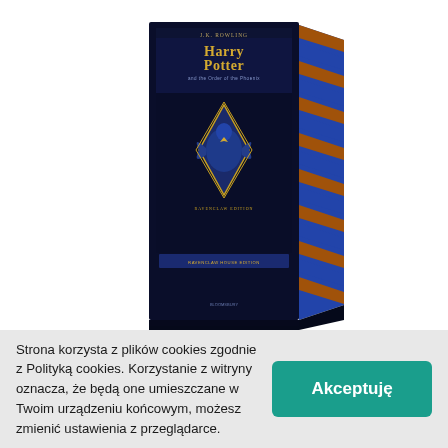[Figure (illustration): A 3D rendered book cover of 'Harry Potter and the Order of the Phoenix' - Ravenclaw House Edition. The book has a dark navy blue cover with a Ravenclaw-themed design featuring an eagle emblem (Ravenclaw crest) in blue and gold tones. The spine and side of the book show blue and brown/orange stripes. The book is shown in perspective view on a white background.]
Strona korzysta z plików cookies zgodnie z Polityką cookies. Korzystanie z witryny oznacza, że będą one umieszczane w Twoim urządzeniu końcowym, możesz zmienić ustawienia z przeglądarce.